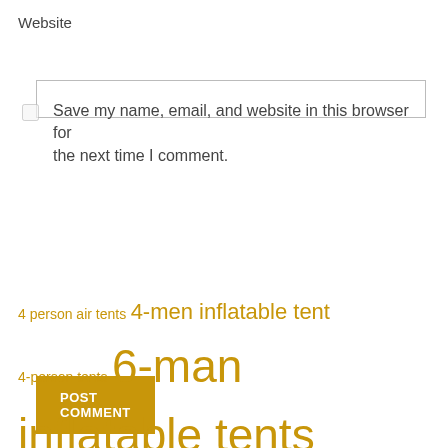Website
Save my name, email, and website in this browser for the next time I comment.
POST COMMENT
4 person air tents  4-men inflatable tent  4-person tents  6-man inflatable tents  6-person air tents  8-person tent  airgo  air genus